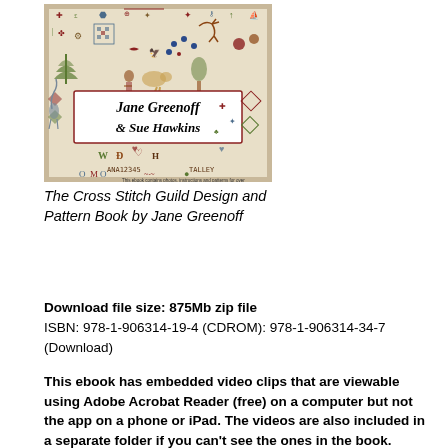[Figure (illustration): Book cover of 'The Cross Stitch Guild Design and Pattern Book' by Jane Greenoff and Sue Hawkins, featuring a cross-stitch sampler pattern background with various embroidery motifs in red, green, blue and brown on a cream/beige background. A white label in the center displays the authors' names in italic black serif font.]
The Cross Stitch Guild Design and Pattern Book by Jane Greenoff
Download file size: 875Mb zip file
ISBN: 978-1-906314-19-4 (CDROM): 978-1-906314-34-7 (Download)
This ebook has embedded video clips that are viewable using Adobe Acrobat Reader (free) on a computer but not the app on a phone or iPad. The videos are also included in a separate folder if you can't see the ones in the book.